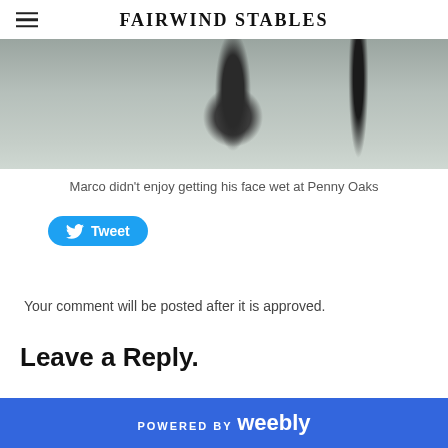FAIRWIND STABLES
[Figure (photo): A dark reflective water scene with trees, horse or animal partially visible, muted gray-green tones]
Marco didn't enjoy getting his face wet at Penny Oaks
[Figure (other): Twitter Tweet button (blue rounded rectangle with bird icon and 'Tweet' label)]
Your comment will be posted after it is approved.
Leave a Reply.
POWERED BY weebly